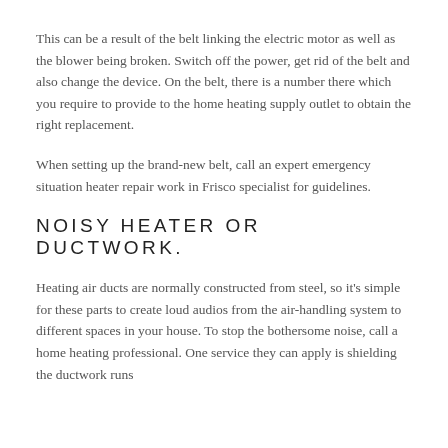This can be a result of the belt linking the electric motor as well as the blower being broken. Switch off the power, get rid of the belt and also change the device. On the belt, there is a number there which you require to provide to the home heating supply outlet to obtain the right replacement.
When setting up the brand-new belt, call an expert emergency situation heater repair work in Frisco specialist for guidelines.
NOISY HEATER OR DUCTWORK.
Heating air ducts are normally constructed from steel, so it's simple for these parts to create loud audios from the air-handling system to different spaces in your house. To stop the bothersome noise, call a home heating professional. One service they can apply is shielding the ductwork runs